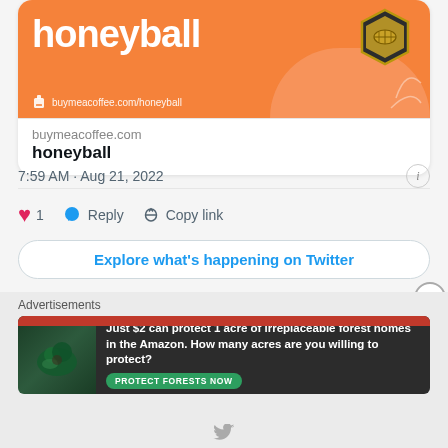[Figure (screenshot): Buy Me a Coffee banner for 'honeyball' — orange background with white bold text 'honeyball', a football badge icon top-right, and URL buymeacoffee.com/honeyball shown with a coffee cup icon at bottom-left]
buymeacoffee.com
honeyball
7:59 AM · Aug 21, 2022
1
Reply
Copy link
Explore what's happening on Twitter
Advertisements
[Figure (photo): Amazon forest protection advertisement — dark forest background with an animal, red top bar, text: 'Just $2 can protect 1 acre of irreplaceable forest homes in the Amazon. How many acres are you willing to protect?' with a green 'PROTECT FORESTS NOW' button]